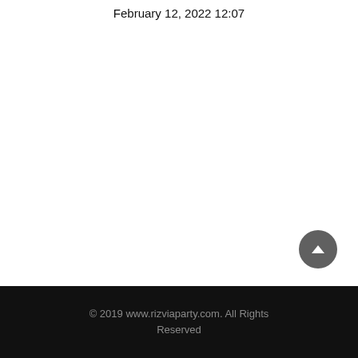February 12, 2022 12:07
© 2019 www.rizviaparty.com. All Rights Reserved